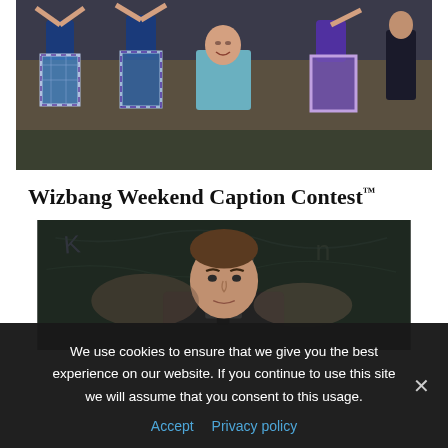[Figure (photo): Photo of Scottish highland dancers in blue and purple tartan outfits with a woman in a teal blazer watching in the background]
Wizbang Weekend Caption Contest™
[Figure (photo): Photo of a man (Emmanuel Macron) in front of a dark chalkboard with graffiti-like writing]
We use cookies to ensure that we give you the best experience on our website. If you continue to use this site we will assume that you consent to this usage.